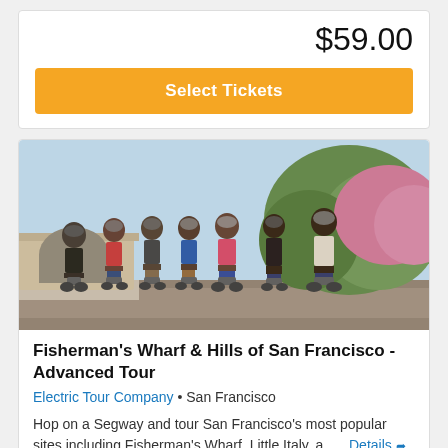$59.00
Select Tickets
[Figure (photo): Group of people riding Segways outdoors with trees and flowers in background]
Fisherman's Wharf & Hills of San Francisco - Advanced Tour
Electric Tour Company • San Francisco
Hop on a Segway and tour San Francisco's most popular sites including Fisherman's Wharf, Little Italy, a … Details